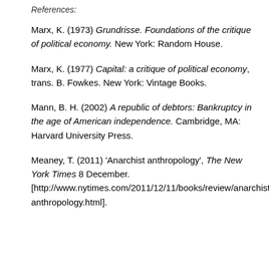Marx, K. (1973) Grundrisse. Foundations of the critique of political economy. New York: Random House.
Marx, K. (1977) Capital: a critique of political economy, trans. B. Fowkes. New York: Vintage Books.
Mann, B. H. (2002) A republic of debtors: Bankruptcy in the age of American independence. Cambridge, MA: Harvard University Press.
Meaney, T. (2011) 'Anarchist anthropology', The New York Times 8 December. [http://www.nytimes.com/2011/12/11/books/review/anarchist-anthropology.html].